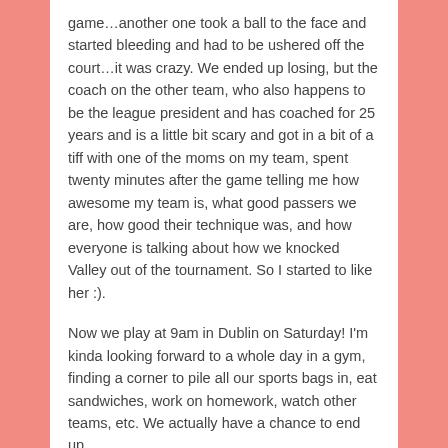game…another one took a ball to the face and started bleeding and had to be ushered off the court…it was crazy. We ended up losing, but the coach on the other team, who also happens to be the league president and has coached for 25 years and is a little bit scary and got in a bit of a tiff with one of the moms on my team, spent twenty minutes after the game telling me how awesome my team is, what good passers we are, how good their technique was, and how everyone is talking about how we knocked Valley out of the tournament. So I started to like her :).
Now we play at 9am in Dublin on Saturday! I'm kinda looking forward to a whole day in a gym, finding a corner to pile all our sports bags in, eat sandwiches, work on homework, watch other teams, etc. We actually have a chance to end up